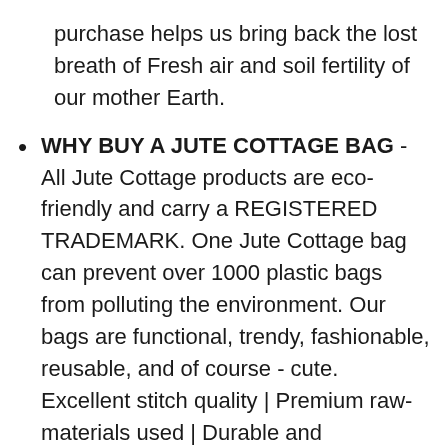purchase helps us bring back the lost breath of Fresh air and soil fertility of our mother Earth.
WHY BUY A JUTE COTTAGE BAG - All Jute Cottage products are eco-friendly and carry a REGISTERED TRADEMARK. One Jute Cottage bag can prevent over 1000 plastic bags from polluting the environment. Our bags are functional, trendy, fashionable, reusable, and of course - cute. Excellent stitch quality | Premium raw-materials used | Durable and lightweight | 100% bio-degradable | Supports GO GREEN and MADE IN INDIA initiative | Traditional designs with modern sensibilities.